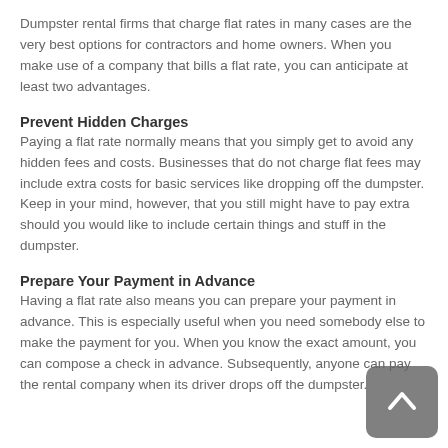Dumpster rental firms that charge flat rates in many cases are the very best options for contractors and home owners. When you make use of a company that bills a flat rate, you can anticipate at least two advantages.
Prevent Hidden Charges
Paying a flat rate normally means that you simply get to avoid any hidden fees and costs. Businesses that do not charge flat fees may include extra costs for basic services like dropping off the dumpster. Keep in your mind, however, that you still might have to pay extra should you would like to include certain things and stuff in the dumpster.
Prepare Your Payment in Advance
Having a flat rate also means you can prepare your payment in advance. This is especially useful when you need somebody else to make the payment for you. When you know the exact amount, you can compose a check in advance. Subsequently, anyone can pay the rental company when its driver drops off the dumpster.